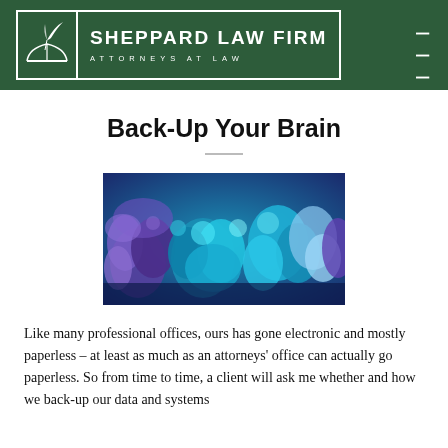SHEPPARD LAW FIRM — ATTORNEYS AT LAW
Back-Up Your Brain
[Figure (photo): Close-up photograph of blue and purple coral or sea anemone under blue light]
Like many professional offices, ours has gone electronic and mostly paperless – at least as much as an attorneys' office can actually go paperless.  So from time to time, a client will ask me whether and how we back-up our data and systems